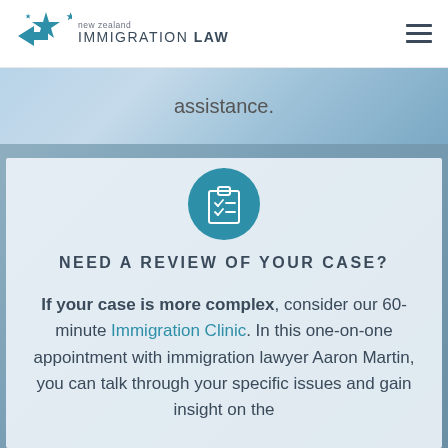new zealand IMMIGRATION LAW
assistance.
[Figure (illustration): Teal circular icon containing a clipboard with checklist marks]
NEED A REVIEW OF YOUR CASE?
If your case is more complex, consider our 60-minute Immigration Clinic. In this one-on-one appointment with immigration lawyer Aaron Martin, you can talk through your specific issues and gain insight on the